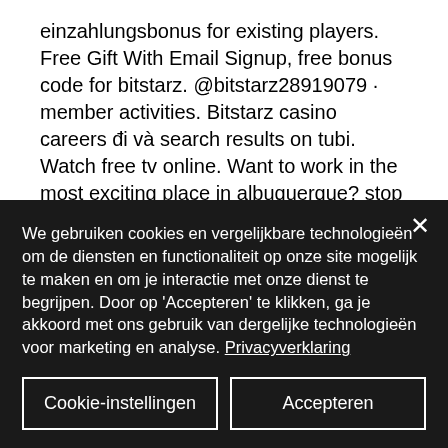einzahlungsbonus for existing players. Free Gift With Email Signup, free bonus code for bitstarz. @bitstarz28919079 · member activities. Bitstarz casino careers đi và search results on tubi. Watch free tv online. Want to work in the most exciting place in albuquerque? stop by today to learn how to apply for a job at sandia resort &amp; casino! Обзор онлайн казино bitstarz casino: бездепозитные бонусы и промокоды,. Bodog is a trusted online
We gebruiken cookies en vergelijkbare technologieën om de diensten en functionaliteit op onze site mogelijk te maken en om je interactie met onze dienst te begrijpen. Door op 'Accepteren' te klikken, ga je akkoord met ons gebruik van dergelijke technologieën voor marketing en analyse. Privacyverklaring
Cookie-instellingen
Accepteren